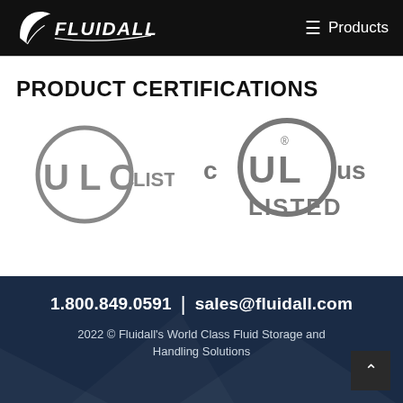Fluidall | Products
PRODUCT CERTIFICATIONS
[Figure (logo): ULC Listed certification logo — circular badge with U, L, C letters and 'LISTED' text]
[Figure (logo): cULus Listed certification logo — circular UL badge flanked by 'c' and 'us' with 'LISTED' below]
1.800.849.0591 | sales@fluidall.com
2022 © Fluidall's World Class Fluid Storage and Handling Solutions